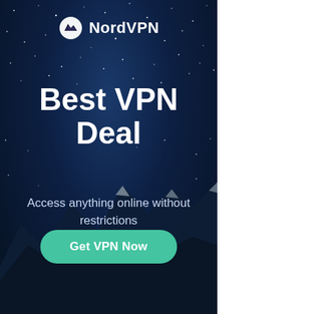[Figure (illustration): NordVPN advertisement banner with dark starry night sky background, mountain silhouette at bottom, NordVPN logo at top, headline text 'Best VPN Deal', subtext 'Access anything online without restrictions', and a teal 'Get VPN Now' button]
NordVPN
Best VPN Deal
Access anything online without restrictions
Get VPN Now